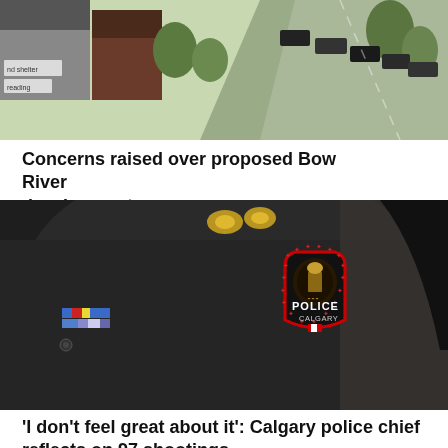[Figure (photo): Aerial view of a residential street with cars parked along the road, houses, and green trees]
Concerns raised over proposed Bow River development
[Figure (photo): Close-up of a Calgary Police officer's uniform shoulder showing badge reading POLICE CALGARY with a red border, gold pins at the shoulder, and colorful service ribbons]
'I don't feel great about it': Calgary police chief reflects on 97 shootings